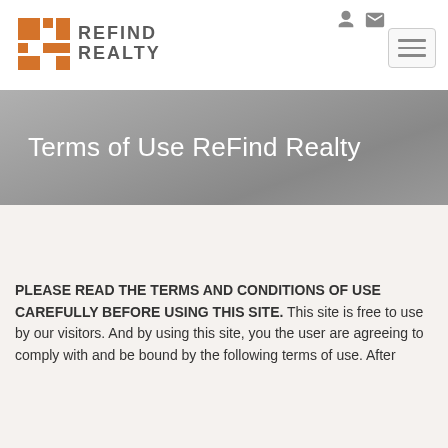[Figure (logo): ReFind Realty logo with orange geometric icon and gray text]
Terms of Use ReFind Realty
PLEASE READ THE TERMS AND CONDITIONS OF USE CAREFULLY BEFORE USING THIS SITE. This site is free to use by our visitors. And by using this site, you the user are agreeing to comply with and be bound by the following terms of use. After